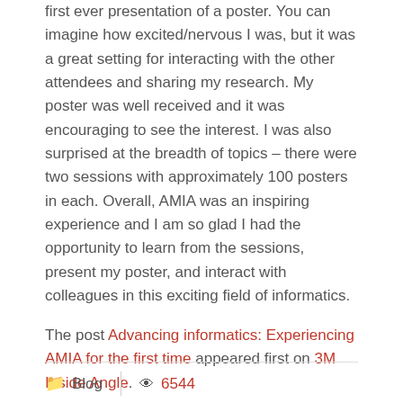first ever presentation of a poster. You can imagine how excited/nervous I was, but it was a great setting for interacting with the other attendees and sharing my research. My poster was well received and it was encouraging to see the interest. I was also surprised at the breadth of topics – there were two sessions with approximately 100 posters in each. Overall, AMIA was an inspiring experience and I am so glad I had the opportunity to learn from the sessions, present my poster, and interact with colleagues in this exciting field of informatics.
The post Advancing informatics: Experiencing AMIA for the first time appeared first on 3M Inside Angle.
Blog  6544